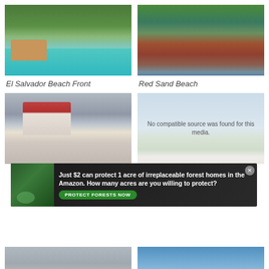[Figure (photo): Tropical beach resort with pool and thatched bungalows surrounded by lush green trees]
El Salvador Beach Front
[Figure (photo): Red sand/dirt beach path along a coastline with green hillside and calm water]
Red Sand Beach
[Figure (photo): Pier or dock structure with red-roofed white building, person visible on left]
[Figure (photo): Beach and sky scene with blue sky and vegetation, partially obscured by media error overlay]
No compatible source was found for this media.
[Figure (infographic): Advertisement banner: Just $2 can protect 1 acre of irreplaceable forest homes in the Amazon. How many acres are you willing to protect? PROTECT FORESTS NOW]
[Figure (photo): Bottom partial view of dock/pier structure with white tile floor and metal railing post]
[Figure (photo): Bottom partial view of beach/coastal scene]